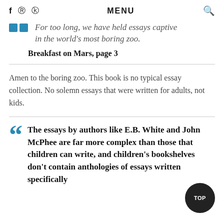f  ⒫  Ⓤ   MENU   🔍
For too long, we have held essays captive in the world’s most boring zoo.
Breakfast on Mars, page 3
Amen to the boring zoo. This book is no typical essay collection. No solemn essays that were written for adults, not kids.
The essays by authors like E.B. White and John McPhee are far more complex than those that children can write, and children’s bookshelves don’t contain anthologies of essays written specifically